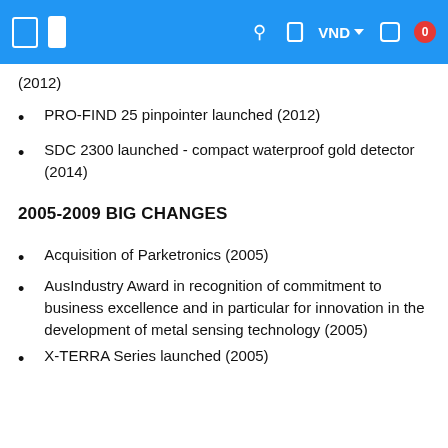Navigation bar with icons and VND currency selector
(2012)
PRO-FIND 25 pinpointer launched (2012)
SDC 2300 launched - compact waterproof gold detector (2014)
2005-2009 BIG CHANGES
Acquisition of Parketronics (2005)
AusIndustry Award in recognition of commitment to business excellence and in particular for innovation in the development of metal sensing technology (2005)
X-TERRA Series launched (2005)